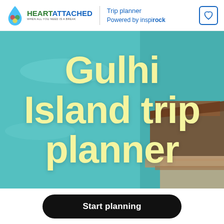HEARTATTACHED — WHEN ALL YOU NEED IS A BREAK | Trip planner | Powered by inspirock
[Figure (photo): Aerial view of a tropical island with teal water and overwater bungalows on the right side, with large yellow overlay text reading 'Gulhi Island trip planner']
Gulhi Island trip planner
Start planning